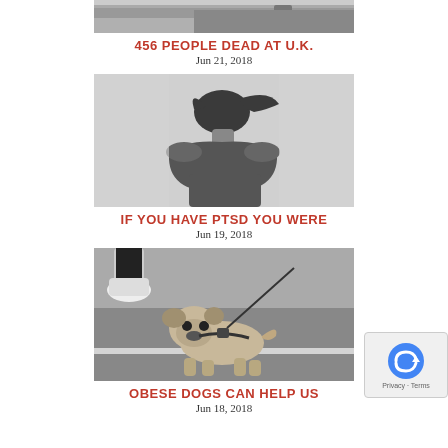[Figure (photo): Black and white photo of a street/parking area, cropped at top]
456 PEOPLE DEAD AT U.K.
Jun 21, 2018
[Figure (photo): Black and white photo of a person from behind with hair blowing in wind]
IF YOU HAVE PTSD YOU WERE
Jun 19, 2018
[Figure (photo): Black and white photo of an obese pug dog on a leash on pavement]
OBESE DOGS CAN HELP US
Jun 18, 2018